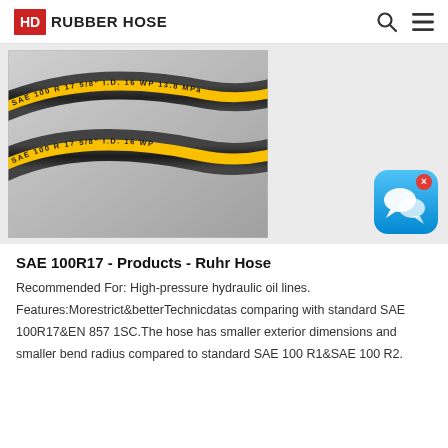HD RUBBER HOSE
[Figure (photo): Two black rubber hoses with yellow text markings reading SAE 100 R17 5/8" I.D. 16 WP curved against a light grey background]
SAE 100R17 - Products - Ruhr Hose
Recommended For: High-pressure hydraulic oil lines. Features:Morestrict&betterTechnicdatas comparing with standard SAE 100R17&EN 857 1SC.The hose has smaller exterior dimensions and smaller bend radius compared to standard SAE 100 R1&SAE 100 R2.